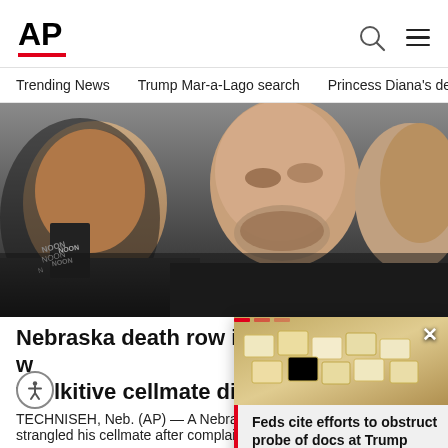AP
Trending News   Trump Mar-a-Lago search   Princess Diana's dea
[Figure (photo): Close-up photo of a man with a short beard flanked by two other people, one wearing a lanyard with 'NOON' visible, in a law enforcement or courtroom setting.]
Nebraska death row inmate w[ho] ta[lk]itive cellmate dies
T[ECHNISEH], Neb. (AP) — A Nebrask[a man] strangled his cellmate after complaining
AP  2 days ago
[Figure (photo): Popup overlay showing a photo of stacked document boxes or envelopes with a red bar on the left side and a close button (×) in the top right.]
Feds cite efforts to obstruct probe of docs at Trump est...